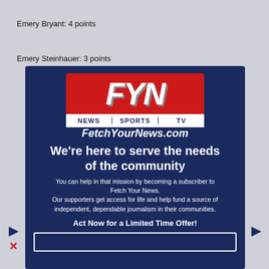Emery Bryant: 4 points
Emery Steinhauer: 3 points
[Figure (logo): FYN (Fetch Your News) advertisement overlay on dark navy background. Contains FYN logo with red block and white letters F, Y, N in italic bold, NEWS SPORTS TV bar below, and FetchYourNews.com text. Below the logo: 'We're here to serve the needs of the community', 'You can help in that mission by becoming a subscriber to Fetch Your News.', 'Our supporters get access for life and help fund a source of independent, dependable journalism in their communities.', 'Act Now for a Limited Time Offer!' and a button area at the bottom.]